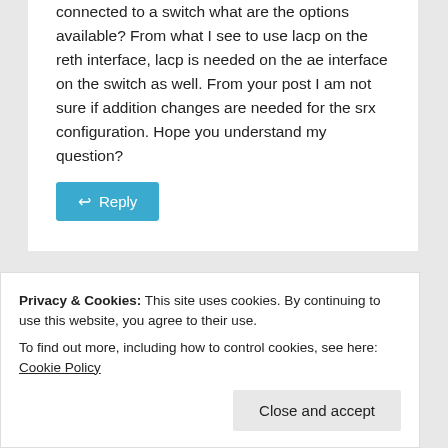connected to a switch what are the options available? From what I see to use lacp on the reth interface, lacp is needed on the ae interface on the switch as well. From your post I am not sure if addition changes are needed for the srx configuration. Hope you understand my question?
Reply
Privacy & Cookies: This site uses cookies. By continuing to use this website, you agree to their use.
To find out more, including how to control cookies, see here: Cookie Policy
Close and accept